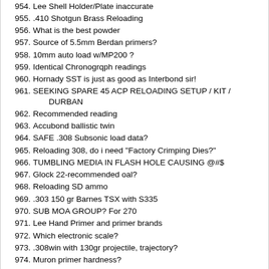954. Lee Shell Holder/Plate inaccurate
955. .410 Shotgun Brass Reloading
956. What is the best powder
957. Source of 5.5mm Berdan primers?
958. 10mm auto load w/MP200 ?
959. Identical Chronogrqph readings
960. Hornady SST is just as good as Interbond sir!
961. SEEKING SPARE 45 ACP RELOADING SETUP / KIT / DURBAN
962. Recommended reading
963. Accubond ballistic twin
964. SAFE .308 Subsonic load data?
965. Reloading 308, do i need "Factory Crimping Dies?"
966. TUMBLING MEDIA IN FLASH HOLE CAUSING @#$
967. Glock 22-recommended oal?
968. Reloading SD ammo
969. .303 150 gr Barnes TSX with S335
970. SUB MOA GROUP? For 270
971. Lee Hand Primer and primer brands
972. Which electronic scale?
973. .308win with 130gr projectile, trajectory?
974. Muron primer hardness?
975. Reloading 308: Where to start
976. Bullet seating die: using .357 for .38 cases?
977. School me on the 7.57 / 7mm / .275 Rigby
978. 45 ACP for COLT 1911 SERIES 70 GOLD CUP
979. die problem?
980. Where to get 303 Brass (Not PMP)
981. FL resizing consistency issue
982. Tired of parallax on reading my 5-0-5 scale, so got a